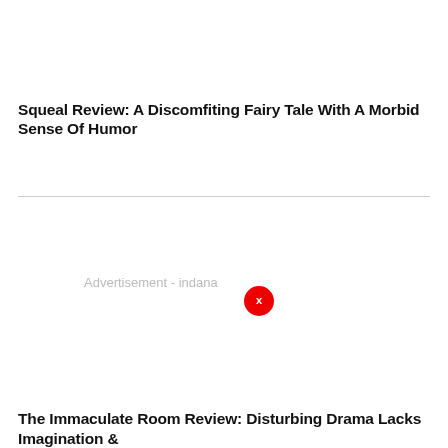Squeal Review: A Discomfiting Fairy Tale With A Morbid Sense Of Humor
[Figure (other): Advertisement placeholder area with text 'Advertisement - indana' and a red close button circle with an 'x']
The Immaculate Room Review: Disturbing Drama Lacks Imagination &